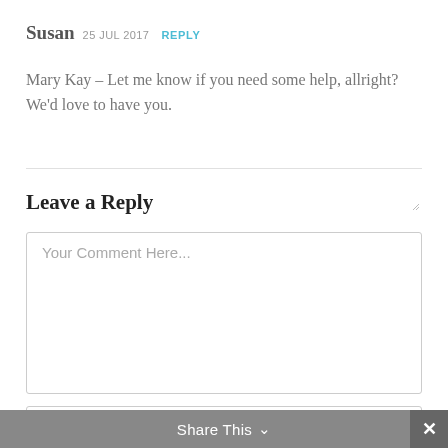Susan 25 JUL 2017 REPLY
Mary Kay – Let me know if you need some help, allright? We'd love to have you.
Leave a Reply
[Figure (screenshot): Comment text area input box with placeholder 'Your Comment Here...']
[Figure (screenshot): Name input box with placeholder 'Name (required)']
Share This ∨  ✕